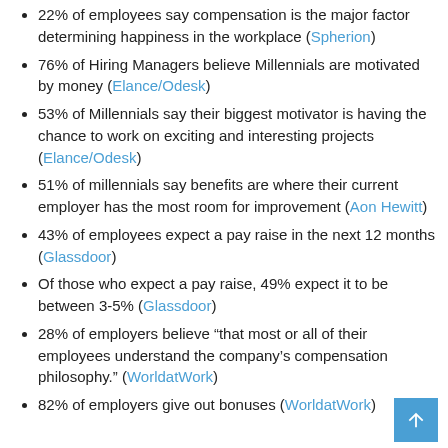22% of employees say compensation is the major factor determining happiness in the workplace (Spherion)
76% of Hiring Managers believe Millennials are motivated by money (Elance/Odesk)
53% of Millennials say their biggest motivator is having the chance to work on exciting and interesting projects (Elance/Odesk)
51% of millennials say benefits are where their current employer has the most room for improvement (Aon Hewitt)
43% of employees expect a pay raise in the next 12 months (Glassdoor)
Of those who expect a pay raise, 49% expect it to be between 3-5% (Glassdoor)
28% of employers believe “that most or all of their employees understand the company’s compensation philosophy.” (WorldatWork)
82% of employers give out bonuses (WorldatWork)